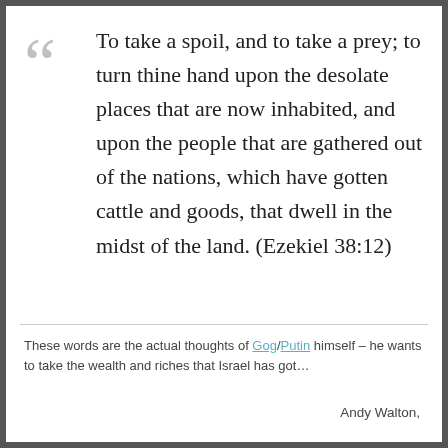To take a spoil, and to take a prey; to turn thine hand upon the desolate places that are now inhabited, and upon the people that are gathered out of the nations, which have gotten cattle and goods, that dwell in the midst of the land. (Ezekiel 38:12)
These words are the actual thoughts of Gog/Putin himself – he wants to take the wealth and riches that Israel has got…
Andy Walton,